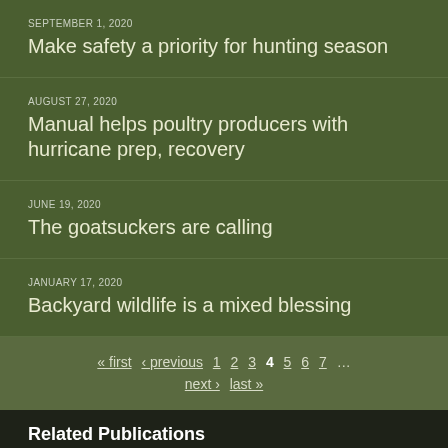SEPTEMBER 1, 2020
Make safety a priority for hunting season
AUGUST 27, 2020
Manual helps poultry producers with hurricane prep, recovery
JUNE 19, 2020
The goatsuckers are calling
JANUARY 17, 2020
Backyard wildlife is a mixed blessing
« first ‹ previous 1 2 3 4 5 6 7 … next › last »
Related Publications